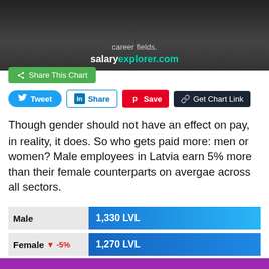[Figure (photo): Header photo of person working at laptop with dark overlay, showing 'career fields.' text and 'salaryexplorer.com' link]
Share This Chart
Tweet  Share  Save  Get Chart Link
Though gender should not have an effect on pay, in reality, it does. So who gets paid more: men or women? Male employees in Latvia earn 5% more than their female counterparts on avergae across all sectors.
[Figure (bar-chart): Gender pay comparison Latvia]
Percentage increase and decrease are relative to the previous value